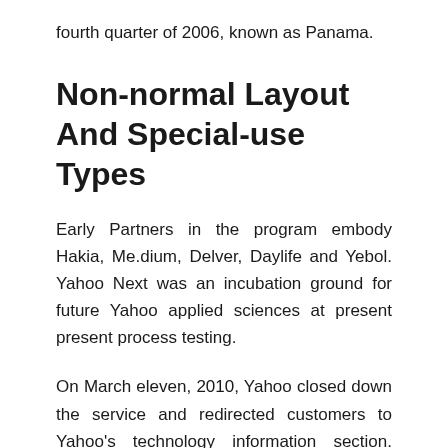fourth quarter of 2006, known as Panama.
Non-normal Layout And Special-use Types
Early Partners in the program embody Hakia, Me.dium, Delver, Daylife and Yebol. Yahoo Next was an incubation ground for future Yahoo applied sciences at present present process testing.
On March eleven, 2010, Yahoo closed down the service and redirected customers to Yahoo's technology information section. Other discontinued providers include Farechase, My Web, Audio Search, Pets, Live, Kickstart, Briefcase, and Yahoo for Teachers. Yahoo 360° was a blogging/social